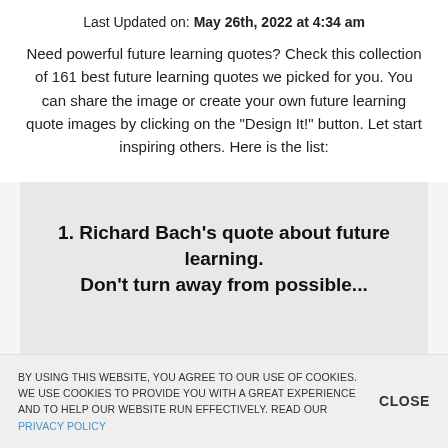Last Updated on: May 26th, 2022 at 4:34 am
Need powerful future learning quotes? Check this collection of 161 best future learning quotes we picked for you. You can share the image or create your own future learning quote images by clicking on the "Design It!" button. Let start inspiring others. Here is the list:
1. Richard Bach's quote about future learning. Don't turn away from possible...
BY USING THIS WEBSITE, YOU AGREE TO OUR USE OF COOKIES. WE USE COOKIES TO PROVIDE YOU WITH A GREAT EXPERIENCE AND TO HELP OUR WEBSITE RUN EFFECTIVELY. READ OUR PRIVACY POLICY  CLOSE